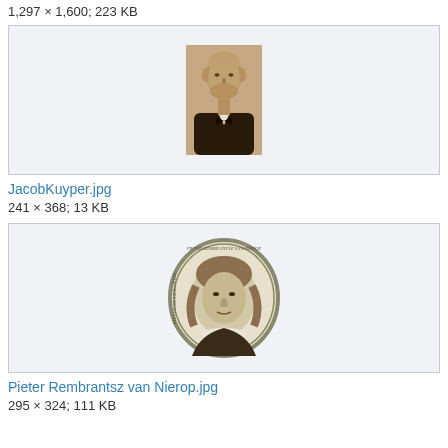1,297 × 1,600; 223 KB
[Figure (photo): Sepia portrait photograph of Jacob Kuyper, an older bald man with a dark jacket and bow tie]
JacobKuyper.jpg
241 × 368; 13 KB
[Figure (illustration): Oval medallion engraving portrait of Pieter Rembrantsz van Nierop with text around the border]
Pieter Rembrantsz van Nierop.jpg
295 × 324; 111 KB